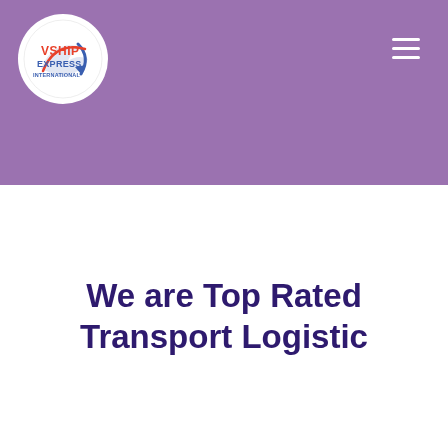[Figure (logo): VShip Express International logo: circular white badge with red 'VSHIP' and blue 'EXPRESS INTERNATIONAL' text and a curved arrow/swoosh graphic]
We are Top Rated Transport Logistic